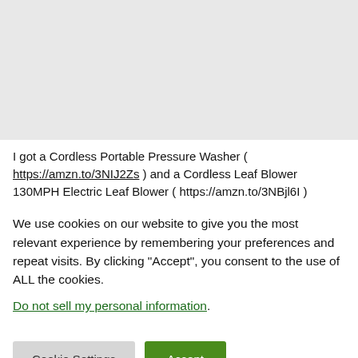[Figure (other): Gray rectangular area representing an image or video placeholder at the top of the page]
I got a Cordless Portable Pressure Washer ( https://amzn.to/3NIJ2Zs ) and a Cordless Leaf Blower 130MPH Electric Leaf Blower ( https://amzn.to/3NBjl6I )
We use cookies on our website to give you the most relevant experience by remembering your preferences and repeat visits. By clicking "Accept", you consent to the use of ALL the cookies. Do not sell my personal information.
Cookie Settings | Accept